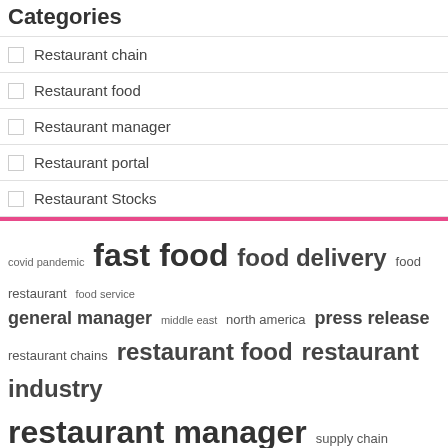Categories
Restaurant chain
Restaurant food
Restaurant manager
Restaurant portal
Restaurant Stocks
[Figure (infographic): Tag cloud with restaurant-related keywords in varying sizes: covid pandemic, fast food (large), food delivery (large), food restaurant, food service, general manager, middle east, north america, press release, restaurant chains, restaurant food (large), restaurant industry (large), restaurant manager (very large), supply chain, united states (very large)]
Recent Posts
ACFA-Cashflow Guide: Restaurant Startup Loans